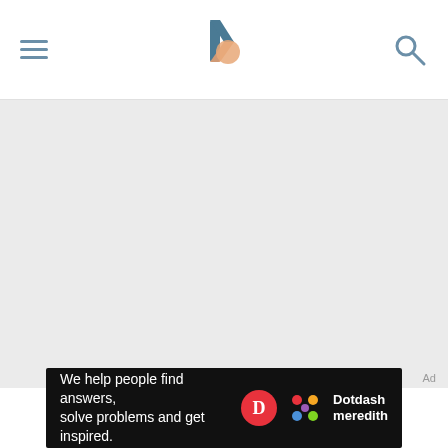Byrdie — hamburger menu, logo, search icon
[Figure (other): Large gray placeholder content area below the header]
Ad
[Figure (logo): Dotdash Meredith advertisement banner: 'We help people find answers, solve problems and get inspired.' with Dotdash D logo and colorful dots logo]